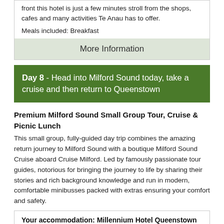front this hotel is just a few minutes stroll from the shops, cafes and many activities Te Anau has to offer.
Meals included: Breakfast
More Information
Day 8 - Head into Milford Sound today, take a cruise and then return to Queenstown
Premium Milford Sound Small Group Tour, Cruise & Picnic Lunch
This small group, fully-guided day trip combines the amazing return journey to Milford Sound with a boutique Milford Sound Cruise aboard Cruise Milford. Led by famously passionate tour guides, notorious for bringing the journey to life by sharing their stories and rich background knowledge and run in modern, comfortable minibusses packed with extras ensuring your comfort and safety.
Your accommodation: Millennium Hotel Queenstown